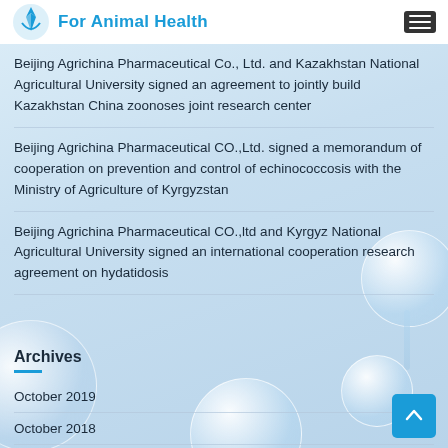For Animal Health
Beijing Agrichina Pharmaceutical Co., Ltd. and Kazakhstan National Agricultural University signed an agreement to jointly build Kazakhstan China zoonoses joint research center
Beijing Agrichina Pharmaceutical CO.,Ltd. signed a memorandum of cooperation on prevention and control of echinococcosis with the Ministry of Agriculture of Kyrgyzstan
Beijing Agrichina Pharmaceutical CO.,ltd and Kyrgyz National Agricultural University signed an international cooperation research agreement on hydatidosis
Archives
October 2019
October 2018
May 2018